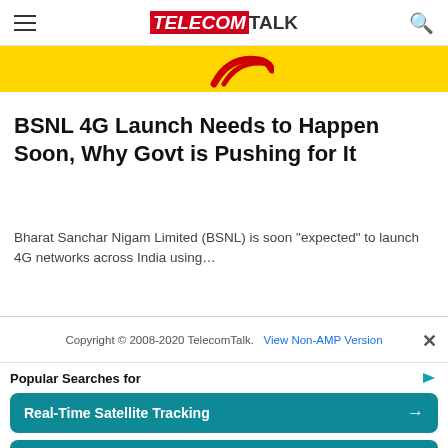TELECOMTALK
[Figure (photo): Yellow advertisement banner with red swoosh logo partially visible]
BSNL 4G Launch Needs to Happen Soon, Why Govt is Pushing for It
Bharat Sanchar Nigam Limited (BSNL) is soon "expected" to launch 4G networks across India using…
Copyright © 2008-2020 TelecomTalk.  View Non-AMP Version
Popular Searches for
Real-Time Satellite Tracking →
Satellite Tracking System →
Yahoo! Search | Sponsored